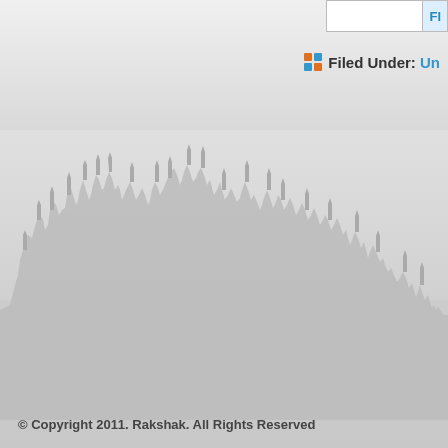[Figure (illustration): Partial UI widget top-right: a box with a blue header text 'Fl...' partially visible]
Filed Under: Un
[Figure (illustration): Crowd silhouette background image showing raised hands against a light gray background]
© Copyright 2011. Rakshak. All Rights Reserved